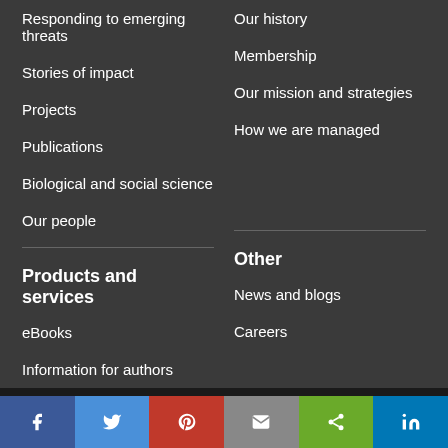Responding to emerging threats
Our history
Stories of impact
Membership
Projects
Our mission and strategies
Publications
How we are managed
Biological and social science
Our people
Products and services
Other
eBooks
News and blogs
Information for authors
Careers
Like most websites we use cookies. This is to ensure that we give you the best experience possible. Continuing to use Plantwise Blog means you agree to our use of cookies. If you would like to, you can learn more about the cookies we use here.